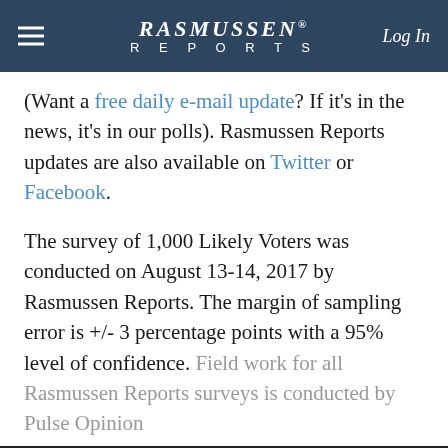RASMUSSEN REPORTS — Log In
(Want a free daily e-mail update? If it's in the news, it's in our polls). Rasmussen Reports updates are also available on Twitter or Facebook.
The survey of 1,000 Likely Voters was conducted on August 13-14, 2017 by Rasmussen Reports. The margin of sampling error is +/- 3 percentage points with a 95% level of confidence. Field work for all Rasmussen Reports surveys is conducted by Pulse Opinion